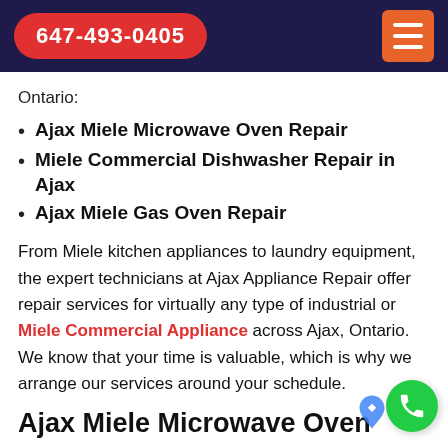647-493-0405
Ontario:
Ajax Miele Microwave Oven Repair
Miele Commercial Dishwasher Repair in Ajax
Ajax Miele Gas Oven Repair
From Miele kitchen appliances to laundry equipment, the expert technicians at Ajax Appliance Repair offer repair services for virtually any type of industrial or Miele Commercial Appliance across Ajax, Ontario. We know that your time is valuable, which is why we arrange our services around your schedule.
Ajax Miele Microwave Oven